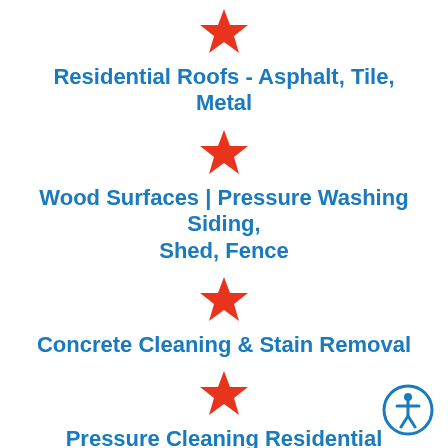Residential Roofs - Asphalt, Tile, Metal
Wood Surfaces | Pressure Washing Siding, Shed, Fence
Concrete Cleaning & Stain Removal
Pressure Cleaning Residential Windows
Commercial | Industrial | Retail